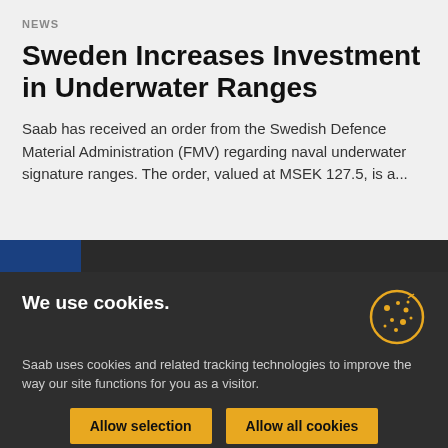NEWS
Sweden Increases Investment in Underwater Ranges
Saab has received an order from the Swedish Defence Material Administration (FMV) regarding naval underwater signature ranges. The order, valued at MSEK 127.5, is a...
[Figure (photo): Partial image strip showing dark blue and dark background, partially visible photo]
We use cookies.
Saab uses cookies and related tracking technologies to improve the way our site functions for you as a visitor.
Allow selection | Allow all cookies
Necessary  Preferences  Statistics  Marketing  Show details